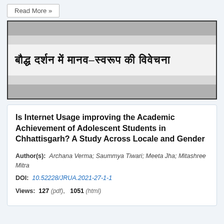[Figure (illustration): Article thumbnail image with horizontal gray bands and Hindi text reading: बौद्ध दर्शन में मानव-स्वरूप की विवेचना]
Is Internet Usage improving the Academic Achievement of Adolescent Students in Chhattisgarh? A Study Across Locale and Gender
Author(s): Archana Verma; Saummya Tiwari; Meeta Jha; Mitashree Mitra
DOI: 10.52228/JRUA.2021-27-1-1
Views: 127 (pdf), 1051 (html)